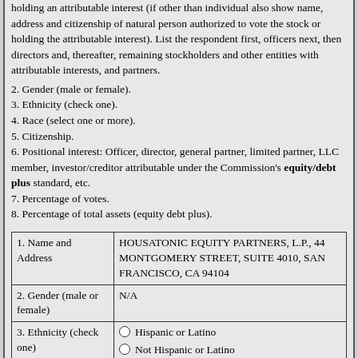holding an attributable interest (if other than individual also show name, address and citizenship of natural person authorized to vote the stock or holding the attributable interest). List the respondent first, officers next, then directors and, thereafter, remaining stockholders and other entities with attributable interests, and partners.
2. Gender (male or female).
3. Ethnicity (check one).
4. Race (select one or more).
5. Citizenship.
6. Positional interest: Officer, director, general partner, limited partner, LLC member, investor/creditor attributable under the Commission's equity/debt plus standard, etc.
7. Percentage of votes.
8. Percentage of total assets (equity debt plus).
| Field | Value |
| --- | --- |
| 1. Name and Address | HOUSATONIC EQUITY PARTNERS, L.P., 44 MONTGOMERY STREET, SUITE 4010, SAN FRANCISCO, CA 94104 |
| 2. Gender (male or female) | N/A |
| 3. Ethnicity (check one) | ○ Hispanic or Latino
○ Not Hispanic or Latino |
| 4. Race (select one or more) | ○ American Indian or Alaska Native
○ Asian
○ Black or African American
○ Native Hawaiian or Other Pacific Islander |